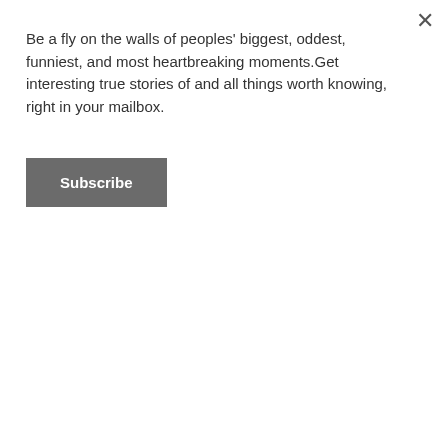Be a fly on the walls of peoples' biggest, oddest, funniest, and most heartbreaking moments.Get interesting true stories of and all things worth knowing, right in your mailbox.
Subscribe
never mentioned. Was it a fever dream???
[deleted]
Our Community
Join the GeorgeTakei.com community and make your opinion matter
Comment >